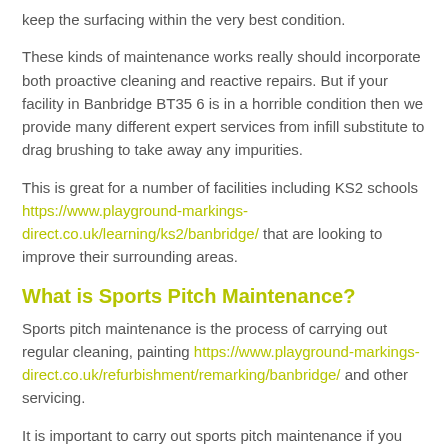keep the surfacing within the very best condition.
These kinds of maintenance works really should incorporate both proactive cleaning and reactive repairs. But if your facility in Banbridge BT35 6 is in a horrible condition then we provide many different expert services from infill substitute to drag brushing to take away any impurities.
This is great for a number of facilities including KS2 schools https://www.playground-markings-direct.co.uk/learning/ks2/banbridge/ that are looking to improve their surrounding areas.
What is Sports Pitch Maintenance?
Sports pitch maintenance is the process of carrying out regular cleaning, painting https://www.playground-markings-direct.co.uk/refurbishment/remarking/banbridge/ and other servicing.
It is important to carry out sports pitch maintenance if you want to keep your nearby court in the best possible condition. Cleaning the